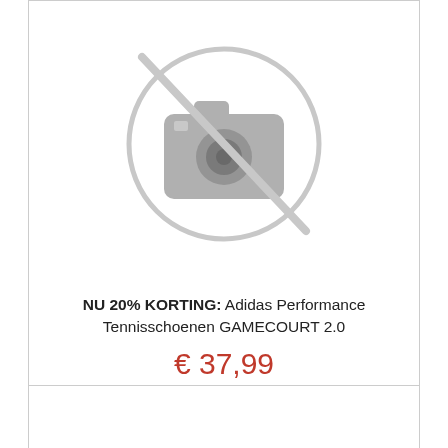[Figure (illustration): No-image placeholder: a camera icon with a diagonal line through it inside a circle, rendered in light gray]
NU 20% KORTING: Adidas Performance Tennisschoenen GAMECOURT 2.0
€ 37,99
Naar shop 🛒 | 👁 Meer info